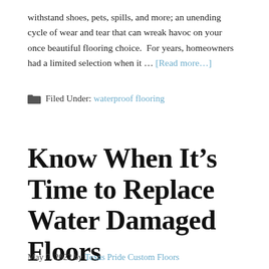withstand shoes, pets, spills, and more; an unending cycle of wear and tear that can wreak havoc on your once beautiful flooring choice.  For years, homeowners had a limited selection when it … [Read more…]
Filed Under: waterproof flooring
Know When It's Time to Replace Water Damaged Floors
May 7, 2022 by Texas Pride Custom Floors